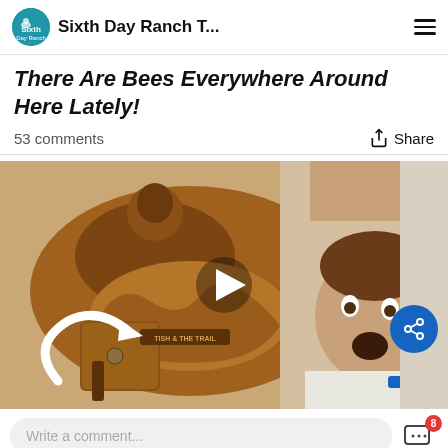Sixth Day Ranch T...
There Are Bees Everywhere Around Here Lately!
53 comments
Share
[Figure (screenshot): Video thumbnail showing a brown leather western saddle on the left with tooled leather detailing and a label 'TISH & THE TRAIL', and a person lying down with mouth open in surprise on the right. A white play button triangle is centered, and a white curved arrow points to the saddle flea market area. Also shows a blue share FAB button.]
Write a comment...